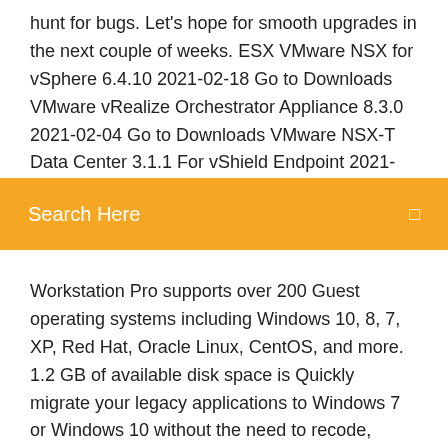hunt for bugs. Let's hope for smooth upgrades in the next couple of weeks. ESX VMware NSX for vSphere 6.4.10 2021-02-18 Go to Downloads VMware vRealize Orchestrator Appliance 8.3.0 2021-02-04 Go to Downloads VMware NSX-T Data Center 3.1.1 For vShield Endpoint 2021-01-27 Go to Downloads VMware Workstation Pro supports several Host Operating Systems
Search Here
Workstation Pro supports over 200 Guest operating systems including Windows 10, 8, 7, XP, Red Hat, Oracle Linux, CentOS, and more. 1.2 GB of available disk space is Quickly migrate your legacy applications to Windows 7 or Windows 10 without the need to recode, retest and recertify. Automatically convert silent-installed applications to ThinApp packages. If you've already packaged applications with ThinApp for use on XP or older versions of Windows convert them to the ThinApp Windows format with ThinApp's